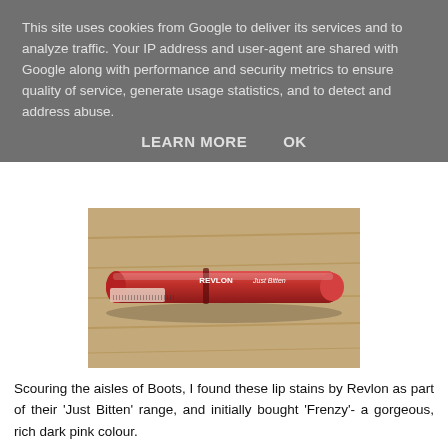This site uses cookies from Google to deliver its services and to analyze traffic. Your IP address and user-agent are shared with Google along with performance and security metrics to ensure quality of service, generate usage statistics, and to detect and address abuse.
LEARN MORE    OK
[Figure (photo): Revlon Just Bitten lip stain pen in red/pink color lying on a wooden surface]
Scouring the aisles of Boots, I found these lip stains by Revlon as part of their 'Just Bitten' range, and initially bought 'Frenzy'- a gorgeous, rich dark pink colour.
[Figure (photo): Close-up of a bright pink Revlon Just Bitten lip stain pen labeled Frenzy/Frenésie]